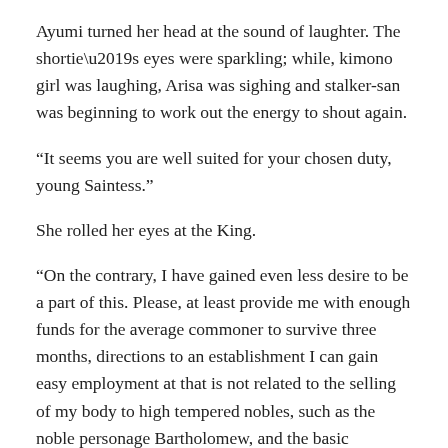Ayumi turned her head at the sound of laughter. The shortie’s eyes were sparkling; while, kimono girl was laughing, Arisa was sighing and stalker-san was beginning to work out the energy to shout again.
“It seems you are well suited for your chosen duty, young Saintess.”
She rolled her eyes at the King.
“On the contrary, I have gained even less desire to be a part of this. Please, at least provide me with enough funds for the average commoner to survive three months, directions to an establishment I can gain easy employment at that is not related to the selling of my body to high tempered nobles, such as the noble personage Bartholomew, and the basic introduction of this world’s monetary system, political systems and of course a guarantee of safety within your Empire.”